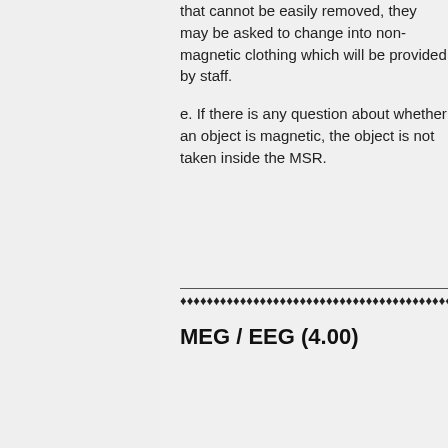that cannot be easily removed, they may be asked to change into non-magnetic clothing which will be provided by staff.
e. If there is any question about whether an object is magnetic, the object is not taken inside the MSR.
♦♦♦♦♦♦♦♦♦♦♦♦♦♦♦♦♦♦♦♦♦♦♦♦♦♦♦♦♦♦♦♦♦♦♦♦♦♦♦♦♦
MEG / EEG (4.00)